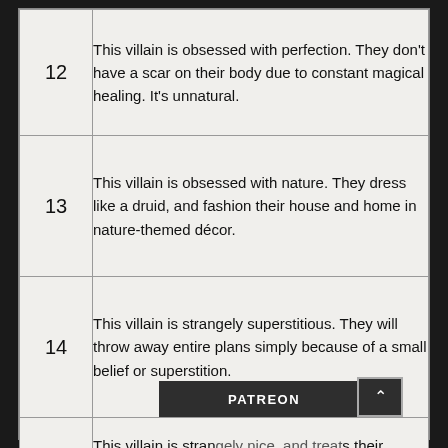| # | Description |
| --- | --- |
| 12 | This villain is obsessed with perfection. They don't have a scar on their body due to constant magical healing. It's unnatural. |
| 13 | This villain is obsessed with nature. They dress like a druid, and fashion their house and home in nature-themed décor. |
| 14 | This villain is strangely superstitious. They will throw away entire plans simply because of a small belief or superstition. |
| 15 | This villain is strangely nice, and treats their employees with the utmost |